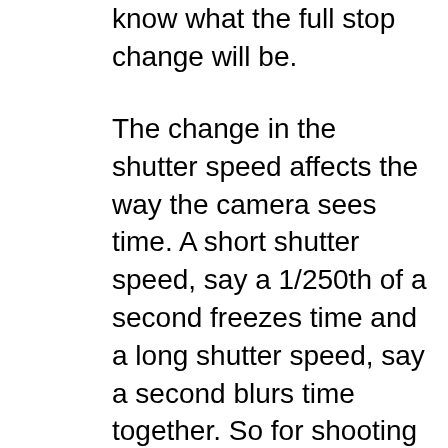know what the full stop change will be.
The change in the shutter speed affects the way the camera sees time. A short shutter speed, say a 1/250th of a second freezes time and a long shutter speed, say a second blurs time together. So for shooting sports you almost always want a high shutter speed to capture the action. If you are shooting waterfalls, you may